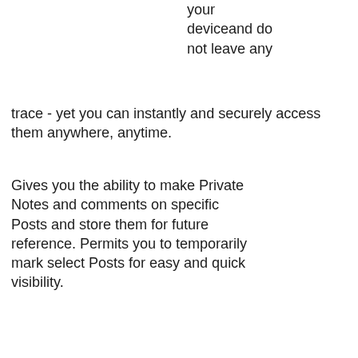your deviceand do not leave any trace - yet you can instantly and securely access them anywhere, anytime.
Gives you the ability to make Private Notes and comments on specific Posts and store them for future reference. Permits you to temporarily mark select Posts for easy and quick visibility.